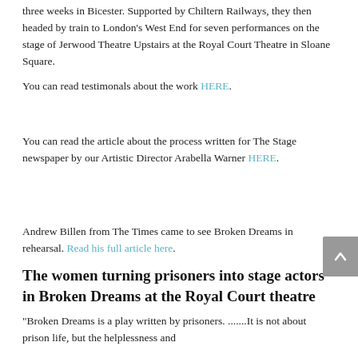three weeks in Bicester. Supported by Chiltern Railways, they then headed by train to London's West End for seven performances on the stage of Jerwood Theatre Upstairs at the Royal Court Theatre in Sloane Square.
You can read testimonals about the work HERE.
You can read the article about the process written for The Stage newspaper by our Artistic Director Arabella Warner HERE.
Andrew Billen from The Times came to see Broken Dreams in rehearsal. Read his full article here.
The women turning prisoners into stage actors in Broken Dreams at the Royal Court theatre
“Broken Dreams is a play written by prisoners. .......It is not about prison life, but the helplessness and